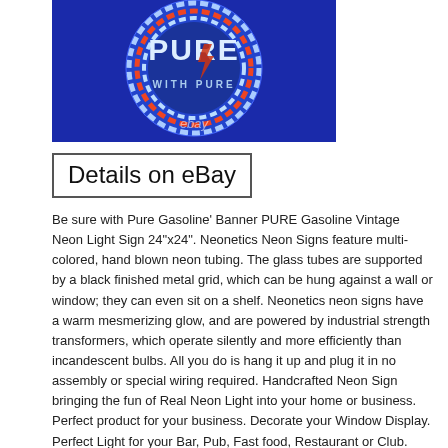[Figure (photo): A neon sign for Pure Gasoline showing the word PURE in large letters with 'WITH PURE' below it, multi-colored neon tubing in blue, red and white on a blue background. An eBay watermark is visible at the bottom.]
Details on eBay
Be sure with Pure Gasoline' Banner PURE Gasoline Vintage Neon Light Sign 24"x24". Neonetics Neon Signs feature multi-colored, hand blown neon tubing. The glass tubes are supported by a black finished metal grid, which can be hung against a wall or window; they can even sit on a shelf. Neonetics neon signs have a warm mesmerizing glow, and are powered by industrial strength transformers, which operate silently and more efficiently than incandescent bulbs. All you do is hang it up and plug it in no assembly or special wiring required. Handcrafted Neon Sign bringing the fun of Real Neon Light into your home or business. Perfect product for your business. Decorate your Window Display. Perfect Light for your Bar, Pub, Fast food, Restaurant or Club. Man